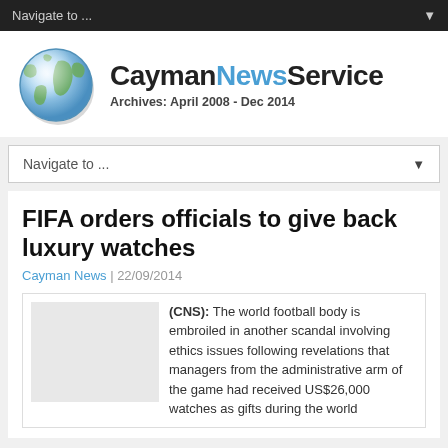Navigate to ...
[Figure (logo): CaymanNewsService logo with globe icon and text 'CaymanNewsService Archives: April 2008 - Dec 2014']
Navigate to ...
FIFA orders officials to give back luxury watches
Cayman News | 22/09/2014
(CNS): The world football body is embroiled in another scandal involving ethics issues following revelations that managers from the administrative arm of the game had received US$26,000 watches as gifts during the world